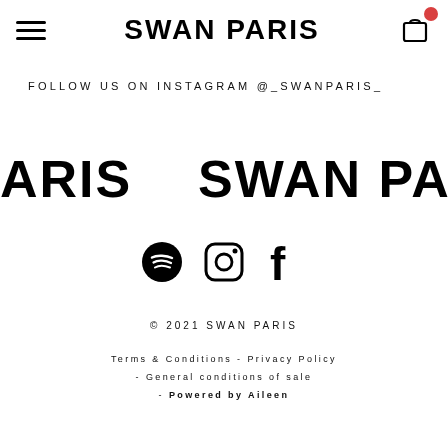SWAN PARIS
FOLLOW US ON INSTAGRAM @_SWANPARIS_
[Figure (other): Repeating marquee banner reading ARIS  SWAN PARIS  SWAN in large bold black text]
[Figure (other): Three social media icons in a row: Spotify, Instagram, Facebook]
© 2021 SWAN PARIS
Terms & Conditions - Privacy Policy - General conditions of sale - Powered by Aileen